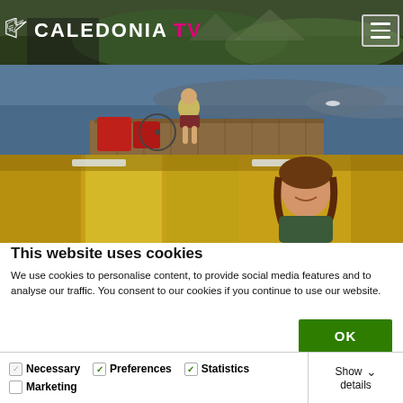[Figure (screenshot): Caledonia TV website header showing three stacked video thumbnail images: top image shows person with mountains/greenery and logo overlay, middle image shows cyclist on a wooden pier by a lake, bottom image shows woman smiling in a yellow interior. Navigation hamburger menu visible top right.]
This website uses cookies
We use cookies to personalise content, to provide social media features and to analyse our traffic. You consent to our cookies if you continue to use our website.
OK
Necessary   Preferences   Statistics   Marketing   Show details